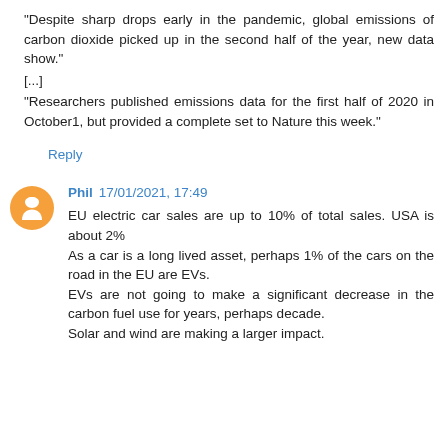"Despite sharp drops early in the pandemic, global emissions of carbon dioxide picked up in the second half of the year, new data show."
[...]
"Researchers published emissions data for the first half of 2020 in October1, but provided a complete set to Nature this week."
Reply
Phil 17/01/2021, 17:49
EU electric car sales are up to 10% of total sales. USA is about 2%
As a car is a long lived asset, perhaps 1% of the cars on the road in the EU are EVs.
EVs are not going to make a significant decrease in the carbon fuel use for years, perhaps decade.
Solar and wind are making a larger impact.